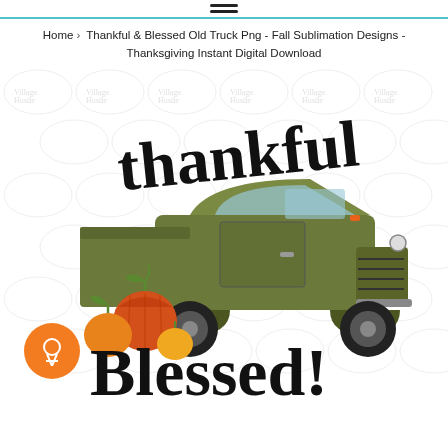≡ (hamburger menu icon)
Home › Thankful & Blessed Old Truck Png - Fall Sublimation Designs - Thanksgiving Instant Digital Download
[Figure (illustration): Digital art product preview: an old green truck with pumpkins, text reads 'Thankful & Blessed', watermark overlay with 'Village Hustle' repeating. Orange badge with ribbon/award icon in bottom-left corner.]